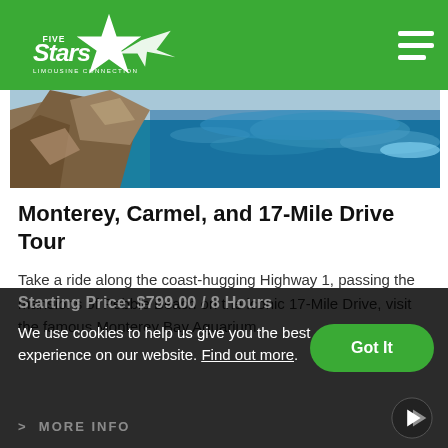Five Stars Limousine Connection
[Figure (photo): Rocky coastal cliffs with blue ocean waves, aerial/side view of Monterey coast]
Monterey, Carmel, and 17-Mile Drive Tour
Take a ride along the coast-hugging Highway 1, passing the mansions of Pebble Beach on the iconic 17-Mile Drive, visit the famous Monterey Bay Aquarium.
Starting Price: $799.00 / 8 Hours
We use cookies to help us give you the best experience on our website. Find out more.
MORE INFO